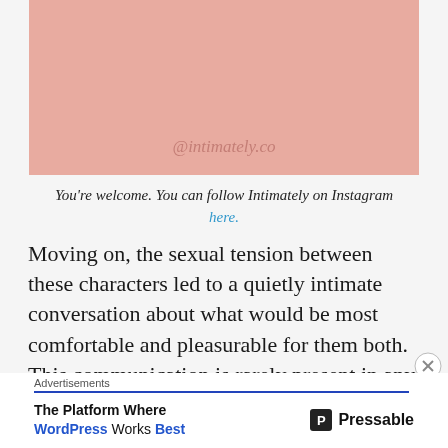[Figure (illustration): Pink/salmon colored image area with '@intimately.co' watermark text centered near the bottom]
You're welcome. You can follow Intimately on Instagram here.
Moving on, the sexual tension between these characters led to a quietly intimate conversation about what would be most comfortable and pleasurable for them both. This communication is rarely present in any media portrayals of sex, which gives the false impression that it isn't necessary for a good
Advertisements | The Platform Where WordPress Works Best | Pressable